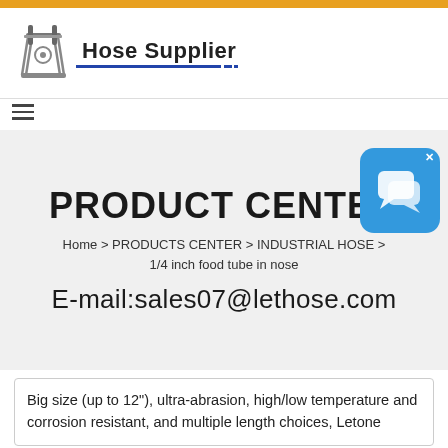Hose Supplier
PRODUCT CENTER
Home > PRODUCTS CENTER > INDUSTRIAL HOSE > 1/4 inch food tube in nose
E-mail:sales07@lethose.com
Big size (up to 12"), ultra-abrasion, high/low temperature and corrosion resistant, and multiple length choices, Letone